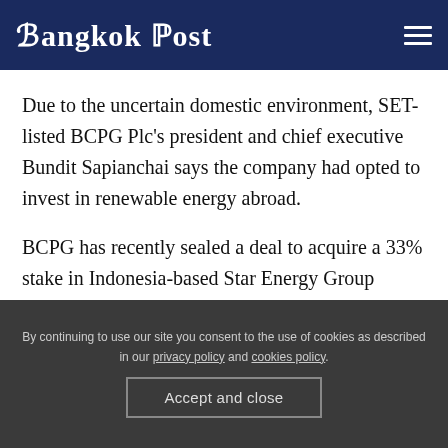Bangkok Post
Due to the uncertain domestic environment, SET-listed BCPG Plc's president and chief executive Bundit Sapianchai says the company had opted to invest in renewable energy abroad.
BCPG has recently sealed a deal to acquire a 33% stake in Indonesia-based Star Energy Group Holding for $358 million. The company views Indonesia as a
By continuing to use our site you consent to the use of cookies as described in our privacy policy and cookies policy.
Accept and close